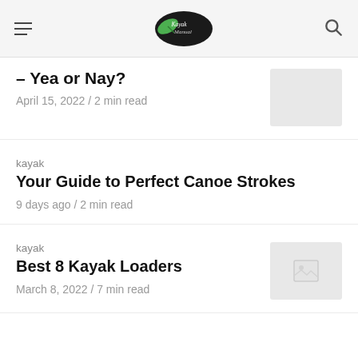Kayak Manual
– Yea or Nay?
April 15, 2022 / 2 min read
kayak
Your Guide to Perfect Canoe Strokes
9 days ago / 2 min read
kayak
Best 8 Kayak Loaders
March 8, 2022 / 7 min read